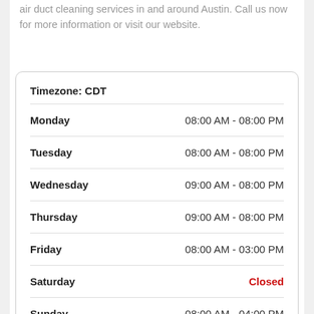air duct cleaning services in and around Austin. Call us now for more information or visit our website.
| Day | Hours |
| --- | --- |
| Timezone: CDT |  |
| Monday | 08:00 AM - 08:00 PM |
| Tuesday | 08:00 AM - 08:00 PM |
| Wednesday | 09:00 AM - 08:00 PM |
| Thursday | 09:00 AM - 08:00 PM |
| Friday | 08:00 AM - 03:00 PM |
| Saturday | Closed |
| Sunday | 08:00 AM - 04:00 PM |